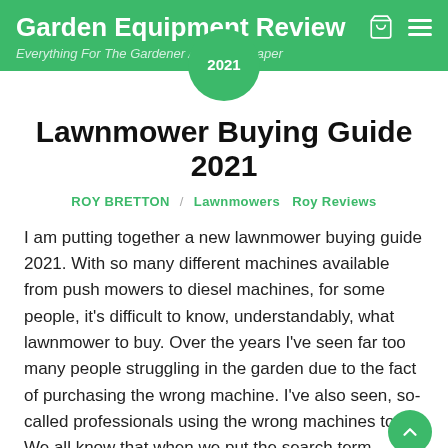Garden Equipment Review
Everything For The Gardener And Landscaper
2021
Lawnmower Buying Guide 2021
ROY BRETTON / Lawnmowers Roy Reviews
I am putting together a new lawnmower buying guide 2021. With so many different machines available from push mowers to diesel machines, for some people, it's difficult to know, understandably, what lawnmower to buy. Over the years I've seen far too many people struggling in the garden due to the fact of purchasing the wrong machine. I've also seen, so-called professionals using the wrong machines too!
We all know that when we put the search term